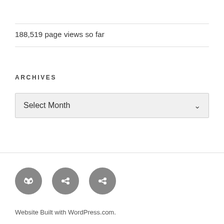188,519 page views so far
ARCHIVES
[Figure (screenshot): Dropdown select box showing 'Select Month' with a chevron arrow on the right, on a light gray background]
[Figure (infographic): Three circular gray social media link icons in a row]
Website Built with WordPress.com.